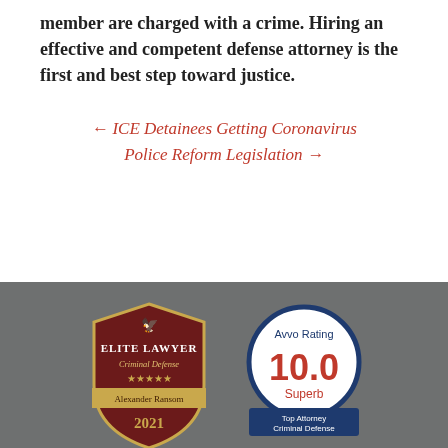member are charged with a crime. Hiring an effective and competent defense attorney is the first and best step toward justice.
← ICE Detainees Getting Coronavirus    Police Reform Legislation →
[Figure (logo): Elite Lawyer Criminal Defense badge — shield shape, dark red/maroon color, gold stars, reads 'ELITE LAWYER Criminal Defense ★★★★★ Alexander Ransom 2021']
[Figure (logo): Avvo Rating badge — circular navy blue border, white center, orange '10.0', text 'Superb Top Attorney Criminal Defense']
[Figure (logo): National Association of Distinguished Counsel — Top One Percent circular badge (partially visible, dark red with gold eagle)]
[Figure (logo): Rated by Super Lawyers badge — red rectangle with white text 'RATED BY Super Lawyers' (partially visible)]